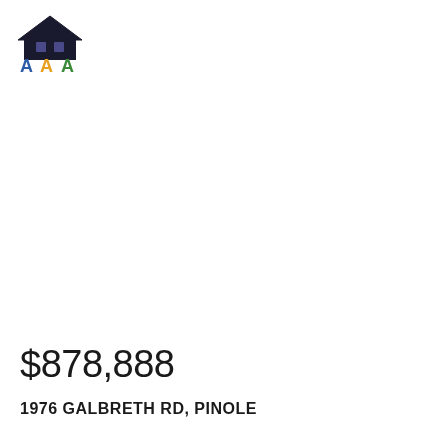[Figure (logo): Real estate company logo with a house icon and colorful stylized letters AAA beneath, in blue, yellow/orange, and green]
$878,888
1976 GALBRETH RD, PINOLE